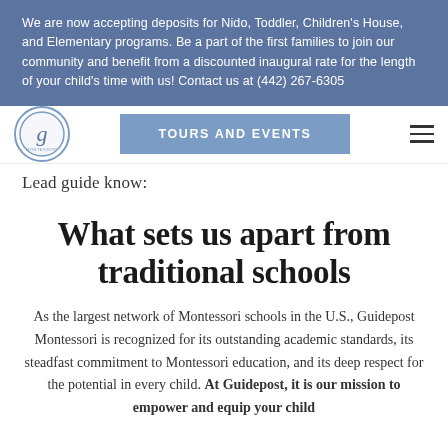We are now accepting deposits for Nido, Toddler, Children's House, and Elementary programs. Be a part of the first families to join our community and benefit from a discounted inaugural rate for the length of your child's time with us! Contact us at (442) 267-6305
[Figure (logo): Guidepost Montessori circular logo with stylized g]
TOURS AND EVENTS
Lead guide know:
What sets us apart from traditional schools
As the largest network of Montessori schools in the U.S., Guidepost Montessori is recognized for its outstanding academic standards, its steadfast commitment to Montessori education, and its deep respect for the potential in every child. At Guidepost, it is our mission to empower and equip your child